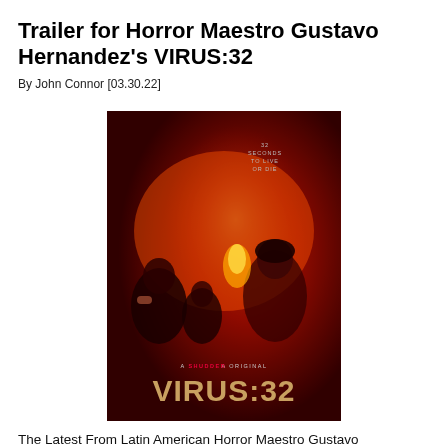Trailer for Horror Maestro Gustavo Hernandez's VIRUS:32
By John Connor [03.30.22]
[Figure (photo): Movie poster for VIRUS:32, a Shudder Original. Red-toned horror poster showing multiple people looking up in fear against a bright red/orange light background. Text reads '32 SECONDS TO LIVE OR DIE' at top. Bottom text reads 'A SHUDDER ORIGINAL' and large title 'VIRUS:32' in gold/tan letters.]
The Latest From Latin American Horror Maestro Gustavo Hernandez, The Celebrated Director of THE SILENT HOUSE And YOU SHALL NOT